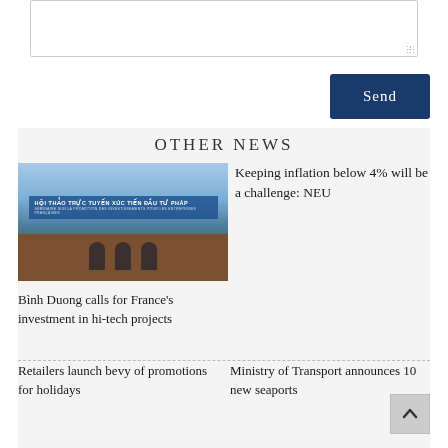[Figure (screenshot): Text input textarea box (empty)]
[Figure (screenshot): Send button — dark navy blue button with white text 'Send']
OTHER NEWS
[Figure (photo): Conference room photo showing three men seated at a table with Vietnamese banner text 'HỘI THẢO TRỰC TUYẾN XÚC TIẾN ĐẦU TƯ PHÁP' and French subtitle 'SÉMINAIRE SUR LA PROMOTION DES INVESTISSEMENTS POUR LES ENTREPRISES FRANÇAISES']
Keeping inflation below 4% will be a challenge: NEU
Bình Duong calls for France's investment in hi-tech projects
Retailers launch bevy of promotions for holidays
Ministry of Transport announces 10 new seaports